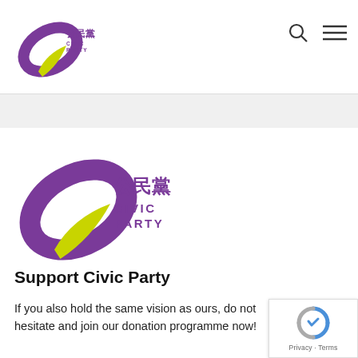[Figure (logo): Civic Party (公民黨) logo — small version in header navigation bar]
[Figure (logo): Civic Party (公民黨) logo — large version in main content area, with purple swoosh and green leaf shapes, Chinese text 公民黨 and English text CIVIC PARTY in purple]
Support Civic Party
If you also hold the same vision as ours, do not hesitate and join our donation programme now!